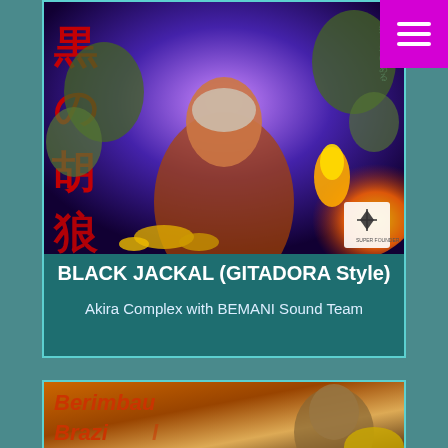[Figure (photo): Album/game cover art for BLACK JACKAL (GITADORA Style) showing a figure in a headscarf with Japanese characters, monsters, fire and cosmic elements]
BLACK JACKAL (GITADORA Style)
Akira Complex with BEMANI Sound Team
[Figure (photo): Partial album cover for Berimbau Brazil showing orange/brown tones with a figure]